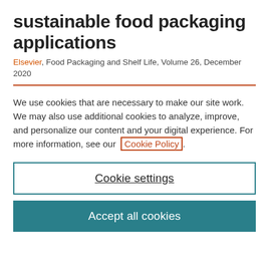sustainable food packaging applications
Elsevier, Food Packaging and Shelf Life, Volume 26, December 2020
We use cookies that are necessary to make our site work. We may also use additional cookies to analyze, improve, and personalize our content and your digital experience. For more information, see our Cookie Policy.
Cookie settings
Accept all cookies